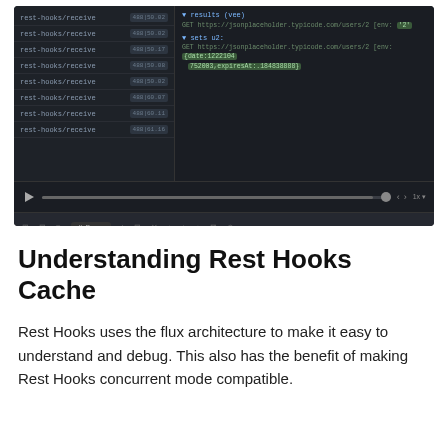[Figure (screenshot): Screenshot of a developer tool showing rest-hooks/receive entries on the left panel with status badges, and on the right panel code output showing GET requests to jsonplaceholder.typicode.com with highlighted result values. Below is a video playback bar with progress indicator and toolbar with pause button and icons.]
Understanding Rest Hooks Cache
Rest Hooks uses the flux architecture to make it easy to understand and debug. This also has the benefit of making Rest Hooks concurrent mode compatible.